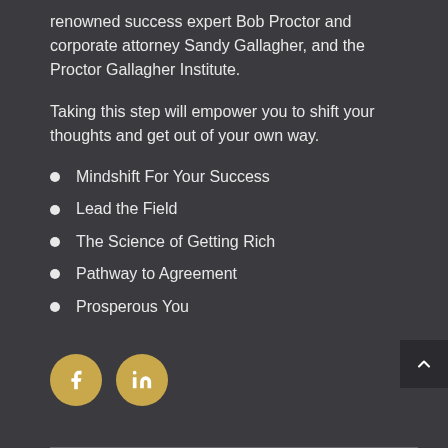renowned success expert Bob Proctor and corporate attorney Sandy Gallagher, and the Proctor Gallagher Institute.
Taking this step will empower you to shift your thoughts and get out of your own way.
Mindshift For Your Success
Lead the Field
The Science of Getting Rich
Pathway to Agreement
Prosperous You
[Figure (illustration): Social media icons: Facebook (f) and LinkedIn (in) as golden circles with white icons]